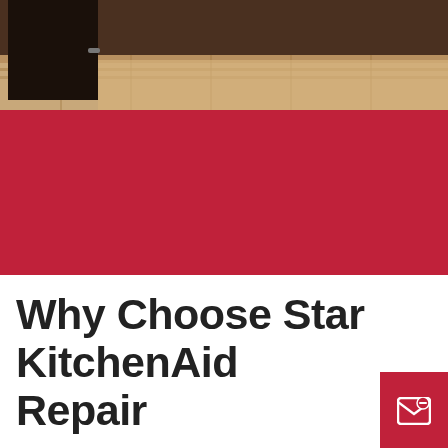[Figure (photo): Kitchen scene with dark wood cabinets and hardwood floor visible at top portion of page]
Why Choose Star KitchenAid Repair
We offer a world-class appliance repair service that is a cut above the rest.
Our repair service is one of the most